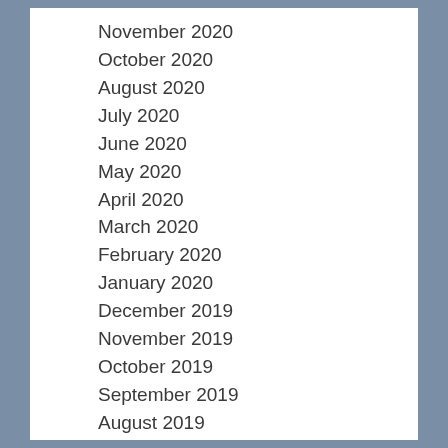November 2020
October 2020
August 2020
July 2020
June 2020
May 2020
April 2020
March 2020
February 2020
January 2020
December 2019
November 2019
October 2019
September 2019
August 2019
July 2019
June 2019
May 2019
April 2019